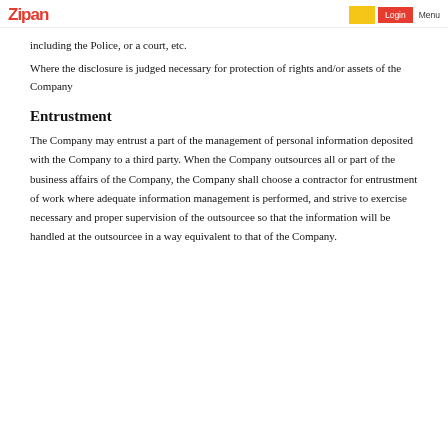Zipan | Login | Menu
including the Police, or a court, etc.
Where the disclosure is judged necessary for protection of rights and/or assets of the Company
Entrustment
The Company may entrust a part of the management of personal information deposited with the Company to a third party. When the Company outsources all or part of the business affairs of the Company, the Company shall choose a contractor for entrustment of work where adequate information management is performed, and strive to exercise necessary and proper supervision of the outsourcee so that the information will be handled at the outsourcee in a way equivalent to that of the Company.